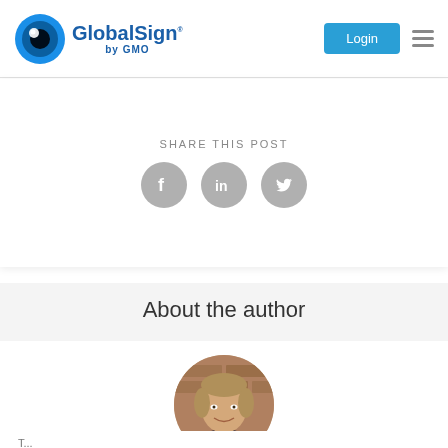GlobalSign by GMO
SHARE THIS POST
[Figure (infographic): Three social media share icons: Facebook, LinkedIn, and Twitter, shown as grey circles with white logos]
About the author
[Figure (photo): Circular cropped headshot of a middle-aged man with light brown/grey hair, wearing a dark blazer and blue shirt, photographed in front of a brick wall background]
T...